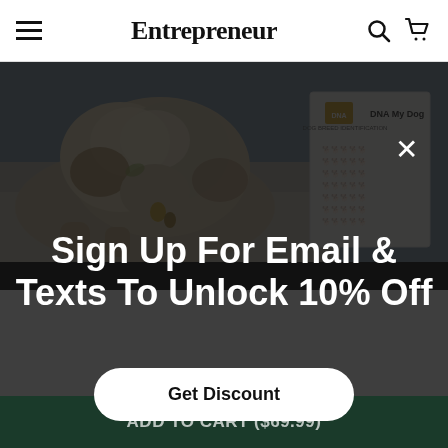Entrepreneur
[Figure (photo): A fluffy small dog lying on a rug outdoors next to a white box labeled 'DNA My Dog']
Sign Up For Email & Texts To Unlock 10% Off
Get Discount
ADD TO CART ($69.99)